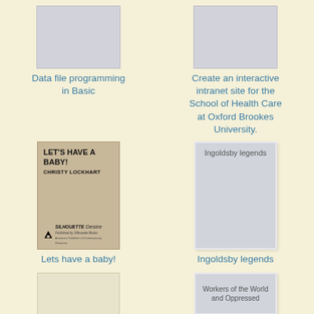[Figure (photo): Gray placeholder rectangle for book cover - Data file programming in Basic]
Data file programming in Basic
[Figure (photo): Gray placeholder rectangle for book cover - Create an interactive intranet site for the School of Health Care at Oxford Brookes University.]
Create an interactive intranet site for the School of Health Care at Oxford Brookes University.
[Figure (photo): Book cover: LET'S HAVE A BABY! by CHRISTY LOCKHART, Silhouette Desire publisher]
Lets have a baby!
[Figure (photo): Gray placeholder rectangle with text 'Ingoldsby legends']
Ingoldsby legends
[Figure (photo): Light beige placeholder rectangle for bottom left book]
[Figure (photo): Gray placeholder rectangle with text 'Workers of the World and Oppressed']